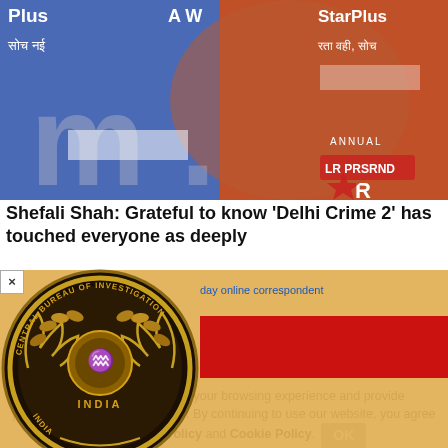[Figure (photo): Photo of Shefali Shah at a Star Plus awards event, with CBI logo watermark overlay on left side. Background shows Star Plus branding and Hindi text. Large grey letter M watermark visible.]
Shefali Shah: Grateful to know 'Delhi Crime 2' has touched everyone as deeply
day online correspondent
[Figure (logo): Central Bureau of Investigation (CBI) India seal/logo - circular emblem with Ashoka Chakra, laurel wreath, and INDIA text, gold and dark coloring]
ur technologies, to enhance your browsing experience and provide personalised recommendations. By continuing to use our website, you agree to our Privacy Policy and Cookie Policy.
OK